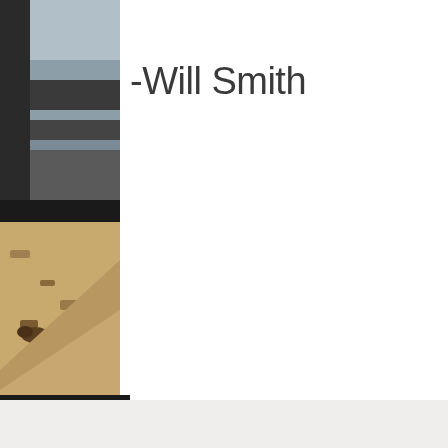[Figure (photo): Partial photo on left side: upper portion shows a dark architectural structure (possibly a bridge or overpass) against a sky, lower portion shows a sandy/earthen ground with rocks and possible small animal, dark band in between. Photo is clipped and partially visible on the left edge.]
-Will Smith